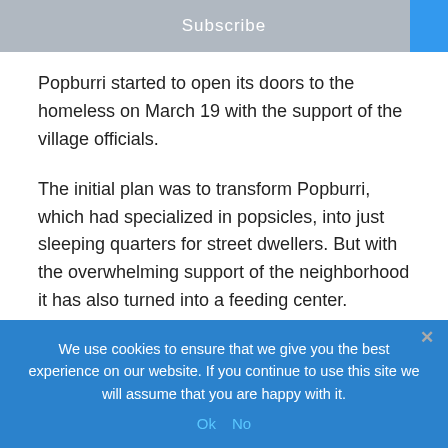Subscribe
Popburri started to open its doors to the homeless on March 19 with the support of the village officials.
The initial plan was to transform Popburri, which had specialized in popsicles, into just sleeping quarters for street dwellers. But with the overwhelming support of the neighborhood it has also turned into a feeding center.
The increasing number of homeless people who flocked to the eatery worried neighbors and village officials.
We use cookies to ensure that we give you the best experience on our website. If you continue to use this site we will assume that you are happy with it. Ok  No